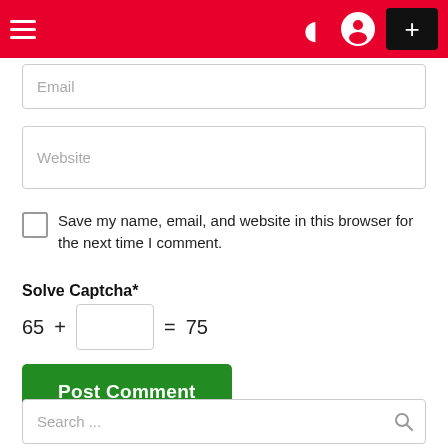Navigation bar with hamburger menu, moon icon, user icon, and plus button
Email
Website
Save my name, email, and website in this browser for the next time I comment.
Solve Captcha*
Post Comment
Search ...